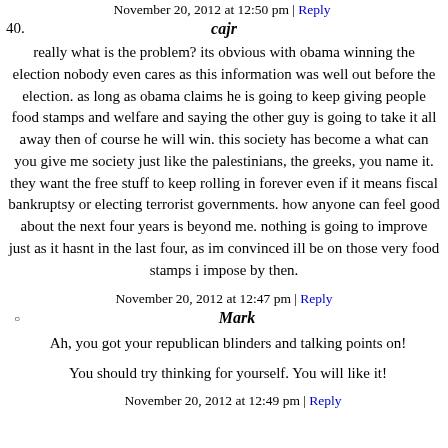November 20, 2012 at 12:50 pm | Reply
40. cajr
really what is the problem? its obvious with obama winning the election nobody even cares as this information was well out before the election. as long as obama claims he is going to keep giving people food stamps and welfare and saying the other guy is going to take it all away then of course he will win. this society has become a what can you give me society just like the palestinians, the greeks, you name it. they want the free stuff to keep rolling in forever even if it means fiscal bankruptsy or electing terrorist governments. how anyone can feel good about the next four years is beyond me. nothing is going to improve just as it hasnt in the last four, as im convinced ill be on those very food stamps i impose by then.
November 20, 2012 at 12:47 pm | Reply
Mark
Ah, you got your republican blinders and talking points on!
You should try thinking for yourself. You will like it!
November 20, 2012 at 12:49 pm | Reply